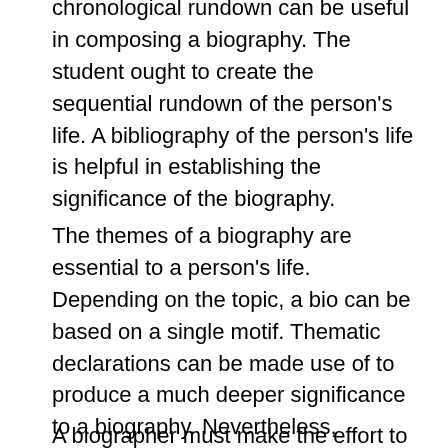chronological rundown can be useful in composing a biography. The student ought to create the sequential rundown of the person's life. A bibliography of the person's life is helpful in establishing the significance of the biography.
The themes of a biography are essential to a person's life. Depending on the topic, a bio can be based on a single motif. Thematic declarations can be made use of to produce a much deeper significance to a biography. Nevertheless, thematic statements are elective. Instead, they are much more helpful for directing a student's study procedure. An author can be affected by thematic declarations of a bio.
A biographer must make the effort to study a